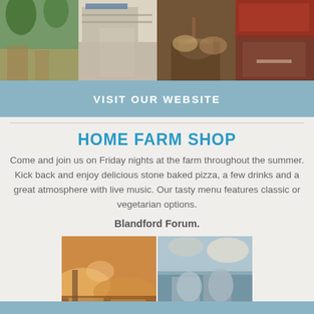[Figure (photo): Four photos at top: outdoor seating with trees, shop interior, cozy interior with lamp, restaurant table with dishes]
VISIT OUR WEBSITE
HOME FARM SHOP
Come and join us on Friday nights at the farm throughout the summer. Kick back and enjoy delicious stone baked pizza, a few drinks and a great atmosphere with live music. Our tasty menu features classic or vegetarian options.
Blandford Forum.
[Figure (photo): Two photos at bottom: stone baked pizzas on wooden boards, beer glasses outdoors with umbrella in background]